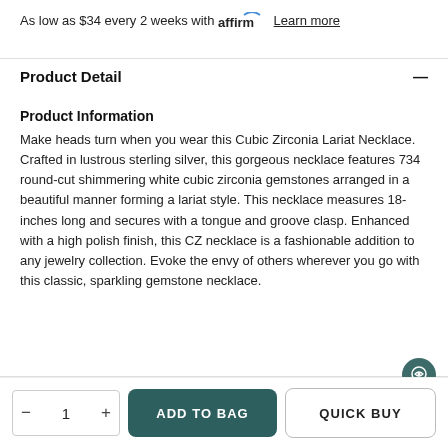As low as $34 every 2 weeks with affirm Learn more
Product Detail
Product Information
Make heads turn when you wear this Cubic Zirconia Lariat Necklace. Crafted in lustrous sterling silver, this gorgeous necklace features 734 round-cut shimmering white cubic zirconia gemstones arranged in a beautiful manner forming a lariat style. This necklace measures 18-inches long and secures with a tongue and groove clasp. Enhanced with a high polish finish, this CZ necklace is a fashionable addition to any jewelry collection. Evoke the envy of others wherever you go with this classic, sparkling gemstone necklace.
| Product Type | Necklace |
| --- | --- |
ADD TO BAG
QUICK BUY